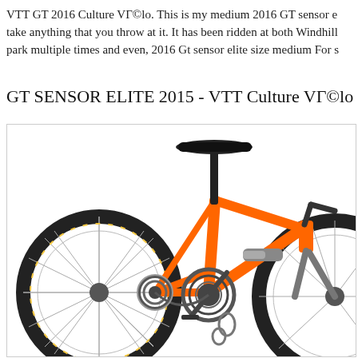VTT GT 2016 Culture VГ©lo. This is my medium 2016 GT sensor e take anything that you throw at it. It has been ridden at both Windhill park multiple times and even, 2016 Gt sensor elite size medium For s
GT SENSOR ELITE 2015 - VTT Culture VГ©lo
[Figure (photo): Orange GT Sensor Elite 2015 full suspension mountain bike with black saddle and seatpost, black tires, silver/grey rear shock, and a large rear cassette and chainring visible. The bike is shown in profile on a white background.]